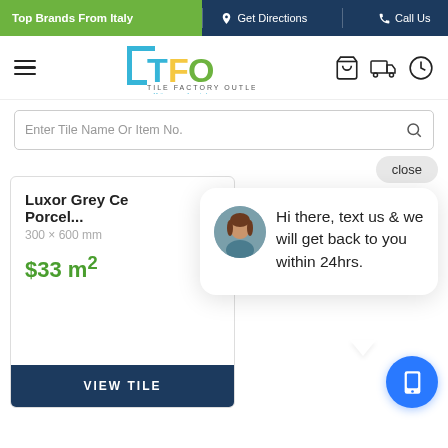Top Brands From Italy | Get Directions | Call Us
[Figure (logo): TFO Tile Factory Outlet logo with hamburger menu and navigation icons (cart, delivery, clock)]
Enter Tile Name Or Item No.
[Figure (screenshot): Product card showing Luxor Grey Ce Porcel... 300 x 600 mm $33 m2 with VIEW TILE button, overlaid by a chat popup saying 'Hi there, text us & we will get back to you within 24hrs.' with a close button and mobile chat button.]